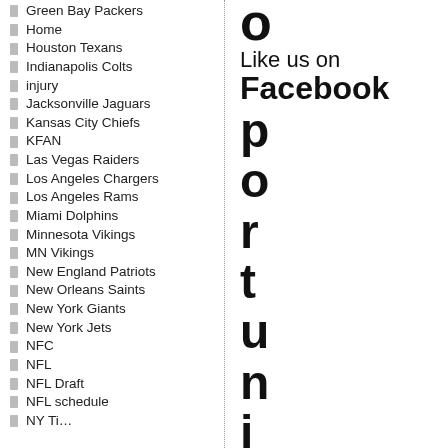Green Bay Packers
Home
Houston Texans
Indianapolis Colts
injury
Jacksonville Jaguars
Kansas City Chiefs
KFAN
Las Vegas Raiders
Los Angeles Chargers
Los Angeles Rams
Miami Dolphins
Minnesota Vikings
MN Vikings
New England Patriots
New Orleans Saints
New York Giants
New York Jets
NFC
NFL
NFL Draft
NFL schedule
NY Ti…
o
Like us on
Facebook
p
o
r
t
u
n
i
t
y
...